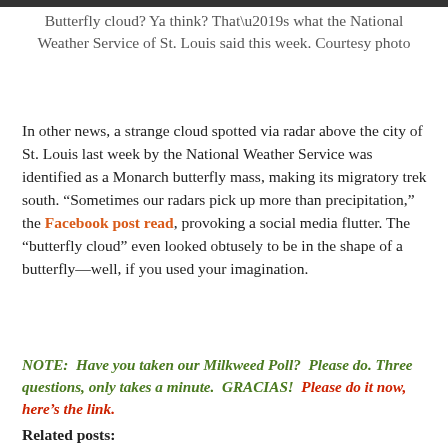Butterfly cloud? Ya think? That’s what the National Weather Service of St. Louis said this week. Courtesy photo
In other news, a strange cloud spotted via radar above the city of St. Louis last week by the National Weather Service was identified as a Monarch butterfly mass, making its migratory trek south. “Sometimes our radars pick up more than precipitation,” the Facebook post read, provoking a social media flutter. The “butterfly cloud” even looked obtusely to be in the shape of a butterfly—well, if you used your imagination.
NOTE: Have you taken our Milkweed Poll? Please do. Three questions, only takes a minute. GRACIAS! Please do it now, here’s the link.
Related posts: